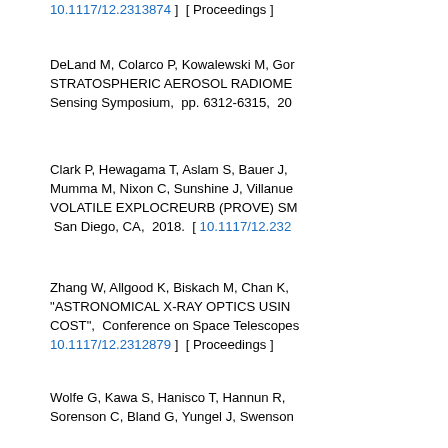10.1117/12.2313874 ]  [ Proceedings ]
DeLand M, Colarco P, Kowalewski M, Gor... STRATOSPHERIC AEROSOL RADIOME... Sensing Symposium, pp. 6312-6315, 201...
Clark P, Hewagama T, Aslam S, Bauer J, ... Mumma M, Nixon C, Sunshine J, Villanu... VOLATILE EXPLOCREURB (PROVE) SM... San Diego, CA, 2018. [ 10.1117/12.232...
Zhang W, Allgood K, Biskach M, Chan K, ... "ASTRONOMICAL X-RAY OPTICS USIN... COST", Conference on Space Telescopes... 10.1117/12.2312879 ]  [ Proceedings ]
Wolfe G, Kawa S, Hanisco T, Hannun R, ... Sorenson C, Bland G, Yungel J, Swenson... AND METHODOLOGY", Atmos. Meas. T... Articles ]
Lozi J, Guyon O, Jovanovic N, Goebel S, ... P, Kudo T, Kawahara H, Kotani T, Ireland ... F, Doelman D, Minowa Y, Clergeon C, Tak... DUAL PURPOSE: PERFORM CUTTIN...